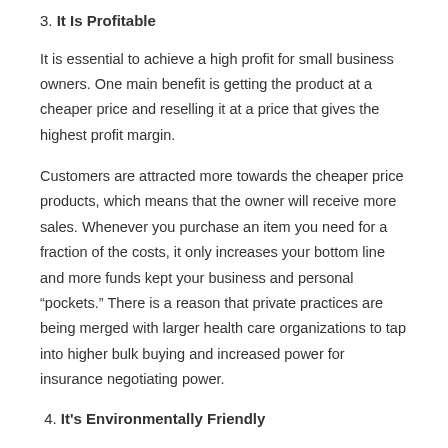3. It Is Profitable
It is essential to achieve a high profit for small business owners. One main benefit is getting the product at a cheaper price and reselling it at a price that gives the highest profit margin.
Customers are attracted more towards the cheaper price products, which means that the owner will receive more sales. Whenever you purchase an item you need for a fraction of the costs, it only increases your bottom line and more funds kept your business and personal “pockets.” There is a reason that private practices are being merged with larger health care organizations to tap into higher bulk buying and increased power for insurance negotiating power.
4. It’s Environmentally Friendly